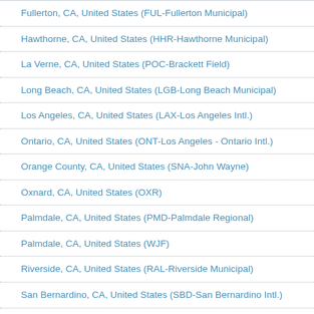Fullerton, CA, United States (FUL-Fullerton Municipal)
Hawthorne, CA, United States (HHR-Hawthorne Municipal)
La Verne, CA, United States (POC-Brackett Field)
Long Beach, CA, United States (LGB-Long Beach Municipal)
Los Angeles, CA, United States (LAX-Los Angeles Intl.)
Ontario, CA, United States (ONT-Los Angeles - Ontario Intl.)
Orange County, CA, United States (SNA-John Wayne)
Oxnard, CA, United States (OXR)
Palmdale, CA, United States (PMD-Palmdale Regional)
Palmdale, CA, United States (WJF)
Riverside, CA, United States (RAL-Riverside Municipal)
San Bernardino, CA, United States (SBD-San Bernardino Intl.)